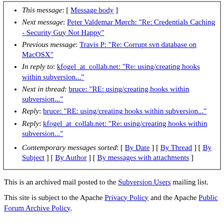This message: [ Message body ]
Next message: Peter Valdemar Mørch: "Re: Credentials Caching - Security Guy Not Happy"
Previous message: Travis P: "Re: Corrupt svn database on MacOSX"
In reply to: kfogel_at_collab.net: "Re: using/creating hooks within subversion..."
Next in thread: bruce: "RE: using/creating hooks within subversion..."
Reply: bruce: "RE: using/creating hooks within subversion..."
Reply: kfogel_at_collab.net: "Re: using/creating hooks within subversion..."
Contemporary messages sorted: [ By Date ] [ By Thread ] [ By Subject ] [ By Author ] [ By messages with attachments ]
This is an archived mail posted to the Subversion Users mailing list.
This site is subject to the Apache Privacy Policy and the Apache Public Forum Archive Policy.